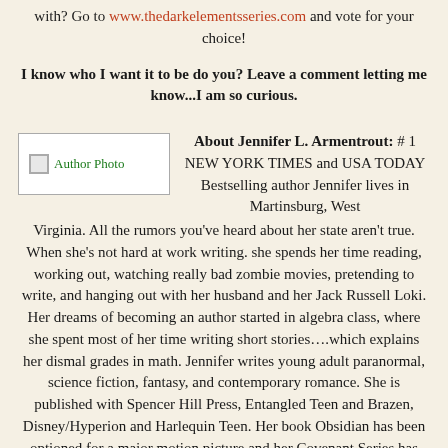with? Go to www.thedarkelementsseries.com and vote for your choice!
I know who I want it to be do you? Leave a comment letting me know...I am so curious.
[Figure (photo): Author Photo placeholder image]
About Jennifer L. Armentrout: # 1 NEW YORK TIMES and USA TODAY Bestselling author Jennifer lives in Martinsburg, West Virginia. All the rumors you've heard about her state aren't true. When she's not hard at work writing. she spends her time reading, working out, watching really bad zombie movies, pretending to write, and hanging out with her husband and her Jack Russell Loki. Her dreams of becoming an author started in algebra class, where she spent most of her time writing short stories….which explains her dismal grades in math. Jennifer writes young adult paranormal, science fiction, fantasy, and contemporary romance. She is published with Spencer Hill Press, Entangled Teen and Brazen, Disney/Hyperion and Harlequin Teen. Her book Obsidian has been optioned for a major motion picture and her Covenant Series has been optioned for TV. She also writes adult and New Adult